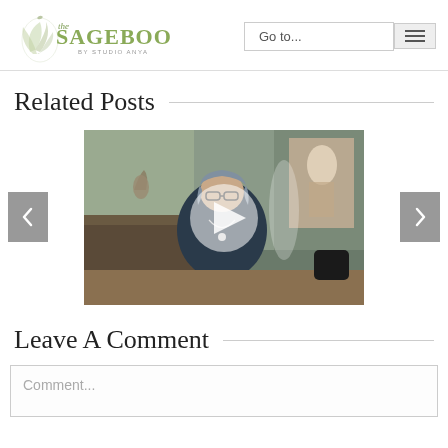the SAGEBOOK by Studio Anya — Go to...
Related Posts
[Figure (photo): Video thumbnail showing a woman with glasses and gray hair wearing a dark top, sitting in a decorated room with sculptures and paintings. A large play button overlay is centered on the image. Navigation arrows on left and right sides of the carousel.]
Leave A Comment
Comment...